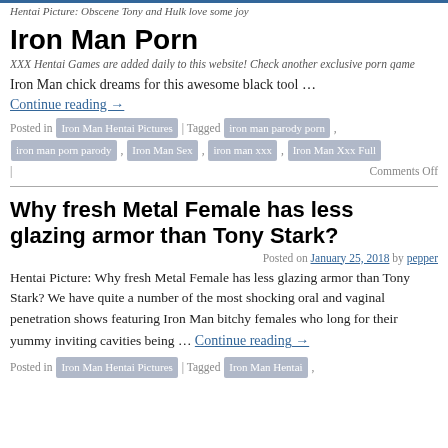Hentai Picture: Obscene Tony and Hulk love some joy
Iron Man Porn
XXX Hentai Games are added daily to this website! Check another exclusive porn game
Iron Man chick dreams for this awesome black tool …
Continue reading →
Posted in Iron Man Hentai Pictures | Tagged iron man parody porn , iron man porn parody , Iron Man Sex , iron man xxx , Iron Man Xxx Full | Comments Off
Why fresh Metal Female has less glazing armor than Tony Stark?
Posted on January 25, 2018 by pepper
Hentai Picture: Why fresh Metal Female has less glazing armor than Tony Stark? We have quite a number of the most shocking oral and vaginal penetration shows featuring Iron Man bitchy females who long for their yummy inviting cavities being … Continue reading →
Posted in Iron Man Hentai Pictures | Tagged Iron Man Hentai ,